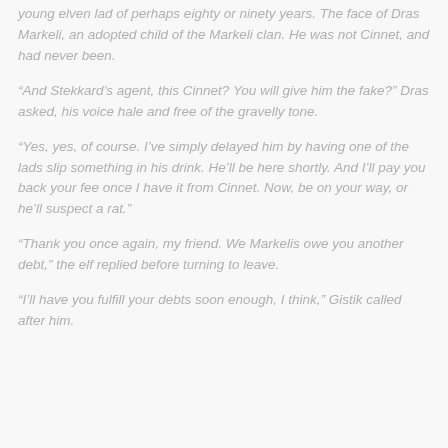young elven lad of perhaps eighty or ninety years. The face of Dras Markeli, an adopted child of the Markeli clan. He was not Cinnet, and had never been.
“And Stekkard’s agent, this Cinnet? You will give him the fake?” Dras asked, his voice hale and free of the gravelly tone.
“Yes, yes, of course. I’ve simply delayed him by having one of the lads slip something in his drink. He’ll be here shortly. And I’ll pay you back your fee once I have it from Cinnet. Now, be on your way, or he’ll suspect a rat.”
“Thank you once again, my friend. We Markelis owe you another debt,” the elf replied before turning to leave.
“I’ll have you fulfill your debts soon enough, I think,” Gistik called after him.